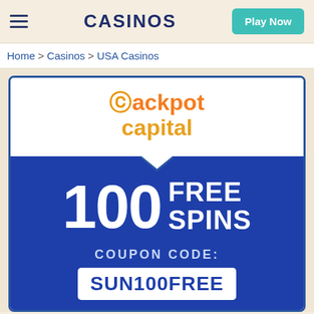CASINOS | Play Now
Home > Casinos > USA Casinos
[Figure (logo): Jackpot Capital casino logo with orange and yellow text, speech bubble style pointing down, on white background, inside a blue-bordered promotional card with dark blue background showing '100 FREE SPINS' and 'COUPON CODE: SUN100FREE']